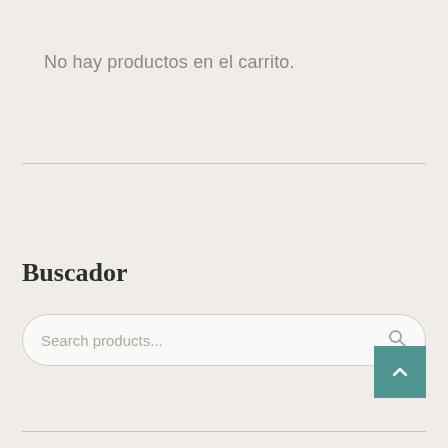No hay productos en el carrito.
Buscador
[Figure (other): Search input box with rounded corners, placeholder text 'Search products...' and a magnifying glass icon on the right side]